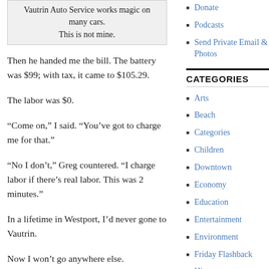[Figure (other): Quote box with gray background: 'Vautrin Auto Service works magic on many cars. This is not mine.']
Then he handed me the bill. The battery was $99; with tax, it came to $105.29.
The labor was $0.
“Come on,” I said. “You’ve got to charge me for that.”
“No I don’t,” Greg countered. “I charge labor if there’s real labor. This was 2 minutes.”
In a lifetime in Westport, I’d never gone to Vautrin.
Now I won’t go anywhere else.
Posted in Local business       30 Comments
Donate
Podcasts
Send Private Email & Photos
CATEGORIES
Arts
Beach
Categories
Children
Downtown
Economy
Education
Entertainment
Environment
Friday Flashback
History